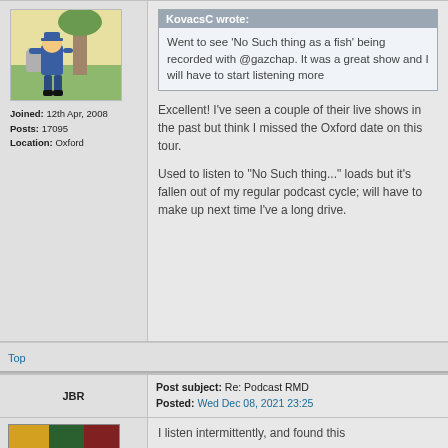[Figure (illustration): Comic-style illustration of a soldier or officer in blue uniform leaning against a tree trunk near a gravestone, yellow/green background]
Joined: 12th Apr, 2008
Posts: 17095
Location: Oxford
KovacsC wrote:
Went to see 'No Such thing as a fish' being recorded with @gazchap. It was a great show and I will have to start listening more
Excellent! I've seen a couple of their live shows in the past but think I missed the Oxford date on this tour.

Used to listen to "No Such thing..." loads but it's fallen out of my regular podcast cycle; will have to make up next time I've a long drive.
Top
JBR
Post subject: Re: Podcast RMD
Posted: Wed Dec 08, 2021 23:25
[Figure (photo): Small avatar image with colorful/dark tones]
I listen intermittently, and found this